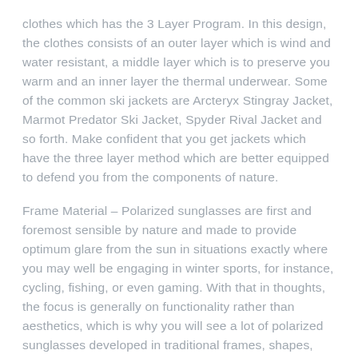clothes which has the 3 Layer Program. In this design, the clothes consists of an outer layer which is wind and water resistant, a middle layer which is to preserve you warm and an inner layer the thermal underwear. Some of the common ski jackets are Arcteryx Stingray Jacket, Marmot Predator Ski Jacket, Spyder Rival Jacket and so forth. Make confident that you get jackets which have the three layer method which are better equipped to defend you from the components of nature.
Frame Material – Polarized sunglasses are first and foremost sensible by nature and made to provide optimum glare from the sun in situations exactly where you may well be engaging in winter sports, for instance, cycling, fishing, or even gaming. With that in thoughts, the focus is generally on functionality rather than aesthetics, which is why you will see a lot of polarized sunglasses developed in traditional frames, shapes, and supplies.
In the final evaluation the advantage of the grey tinted non-polarized sunglasses is that they allow you to see your atmosphere clearly even exactly where vibrant sunlight and